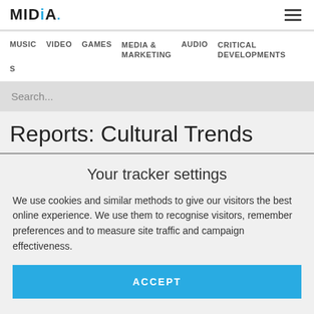MIDIA. [hamburger menu]
MUSIC  VIDEO  GAMES  MEDIA & MARKETING  AUDIO  CRITICAL DEVELOPMENTS  S
Search...
Reports: Cultural Trends
Your tracker settings
We use cookies and similar methods to give our visitors the best online experience. We use them to recognise visitors, remember preferences and to measure site traffic and campaign effectiveness.
ACCEPT